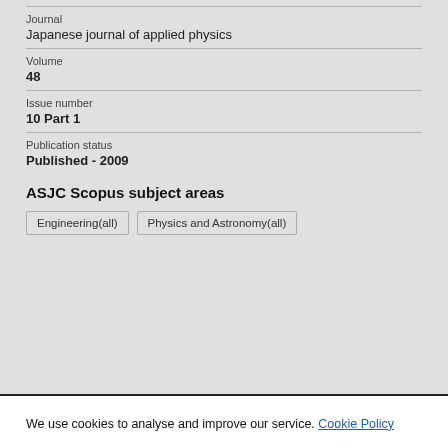Journal
Japanese journal of applied physics
Volume
48
Issue number
10 Part 1
Publication status
Published - 2009
ASJC Scopus subject areas
Engineering(all)
Physics and Astronomy(all)
We use cookies to analyse and improve our service. Cookie Policy